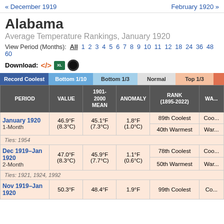« December 1919    February 1920 »
Alabama
Average Temperature Rankings, January 1920
View Period (Months): All 1 2 3 4 5 6 7 8 9 10 11 12 18 24 36 48 60
Download:
| PERIOD | VALUE | 1901-2000 MEAN | ANOMALY | RANK (1895-2022) | WA... |
| --- | --- | --- | --- | --- | --- |
| January 1920 1-Month | 46.9°F (8.3°C) | 45.1°F (7.3°C) | 1.8°F (1.0°C) | 89th Coolest | Coo... |
|  |  |  |  | 40th Warmest | War... |
| Ties: 1954 |  |  |  |  |  |
| Dec 1919–Jan 1920 2-Month | 47.0°F (8.3°C) | 45.9°F (7.7°C) | 1.1°F (0.6°C) | 78th Coolest | Coo... |
|  |  |  |  | 50th Warmest | War... |
| Ties: 1921, 1924, 1992 |  |  |  |  |  |
| Nov 1919–Jan 1920 | 50.3°F | 48.4°F | 1.9°F | 99th Coolest | Co... |